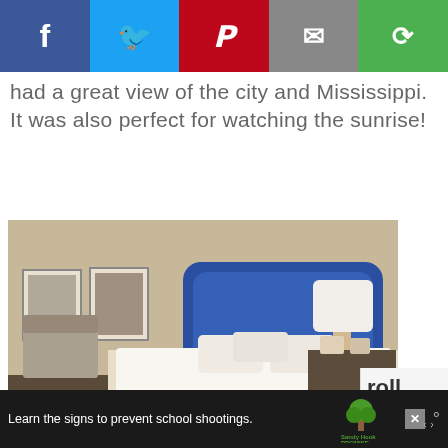[Figure (screenshot): Social media share buttons bar: Facebook (blue), Twitter (cyan), Pinterest (red), Email (grey), Other (green)]
had a great view of the city and Mississippi. It was also perfect for watching the sunrise!
[Figure (photo): Hotel room with a large bed featuring a navy blue upholstered headboard, white bedding, two nightstands with lamps, and two framed pictures on the wall]
[Figure (screenshot): Partial blue advertisement block with close X button]
[Figure (screenshot): Scroll to continue sidebar overlay with text 'roll to on']
[Figure (screenshot): Bottom advertisement banner: 'Learn the signs to prevent school shootings.' with Sandy Hook Promise logo and close button]